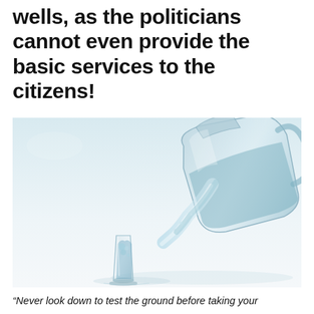wells, as the politicians cannot even provide the basic services to the citizens!
[Figure (photo): A glass pitcher pouring water into a clear drinking glass against a light blue-white background, photographed in a clean, minimalist style.]
“Never look down to test the ground before taking your